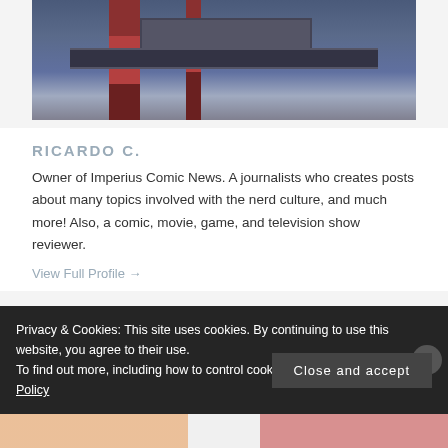[Figure (photo): Close-up photo of a superhero costume (Captain America-style) showing the torso area with blue armor, red and white vertical stripes, a dark chest plate/block, and a dark belt section.]
RICARDO C.
Owner of Imperius Comic News. A journalists who creates posts about many topics involved with the nerd culture, and much more! Also, a comic, movie, game, and television show reviewer.
View Full Profile →
Privacy & Cookies: This site uses cookies. By continuing to use this website, you agree to their use.
To find out more, including how to control cookies, see here: Cookie Policy
Close and accept